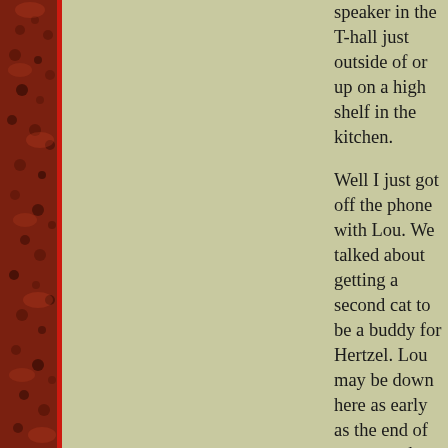speaker in the T-hall just outside of or up on a high shelf in the kitchen.
Well I just got off the phone with Lou. We talked about getting a second cat to be a buddy for Hertzel. Lou may be down here as early as the end of next month which means about five weeks from now. Well, the apartment is partially clean so it should not be that bad.
I need to cook tomorrow and to do some drawing and scanning. I also want to take a walk either to Country Life or down to the river. We'll see if I make it.